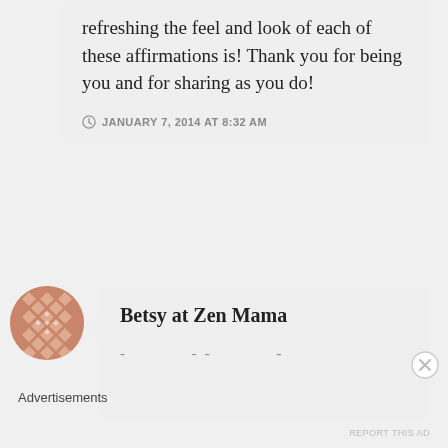refreshing the feel and look of each of these affirmations is! Thank you for being you and for sharing as you do!
JANUARY 7, 2014 AT 8:32 AM
[Figure (illustration): Circular avatar with geometric diamond/cross pattern in salmon/rose gold color on white background]
Betsy at Zen Mama
- -- -
Advertisements